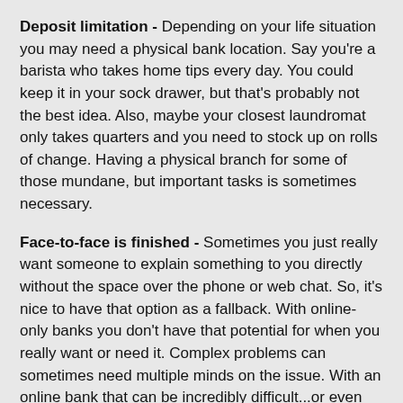Deposit limitation - Depending on your life situation you may need a physical bank location. Say you're a barista who takes home tips every day. You could keep it in your sock drawer, but that's probably not the best idea. Also, maybe your closest laundromat only takes quarters and you need to stock up on rolls of change. Having a physical branch for some of those mundane, but important tasks is sometimes necessary.
Face-to-face is finished - Sometimes you just really want someone to explain something to you directly without the space over the phone or web chat. So, it's nice to have that option as a fallback. With online-only banks you don't have that potential for when you really want or need it. Complex problems can sometimes need multiple minds on the issue. With an online bank that can be incredibly difficult...or even impossible given the situation. To counteract this as much as possible, choose an online bank with 24-hour customer service where you have the chance to speak with a real person (not a tele-robot).